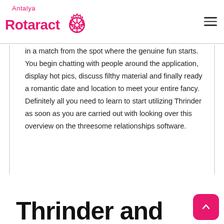Antalya Rotaract
in a match from the spot where the genuine fun starts. You begin chatting with people around the application, display hot pics, discuss filthy material and finally ready a romantic date and location to meet your entire fancy. Definitely all you need to learn to start utilizing Thrinder as soon as you are carried out with looking over this overview on the threesome relationships software.
Thrinder and